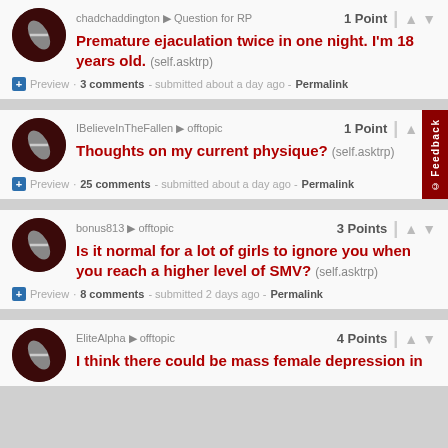chadchaddington ▶ Question for RP · 1 Point
Premature ejaculation twice in one night. I'm 18 years old. (self.asktrp)
Preview · 3 comments · submitted about a day ago · Permalink
IBelieveInTheFallen ▶ offtopic · 1 Point
Thoughts on my current physique? (self.asktrp)
Preview · 25 comments · submitted about a day ago · Permalink
bonus813 ▶ offtopic · 3 Points
Is it normal for a lot of girls to ignore you when you reach a higher level of SMV? (self.asktrp)
Preview · 8 comments · submitted 2 days ago · Permalink
EliteAlpha ▶ offtopic · 4 Points
I think there could be mass female depression in